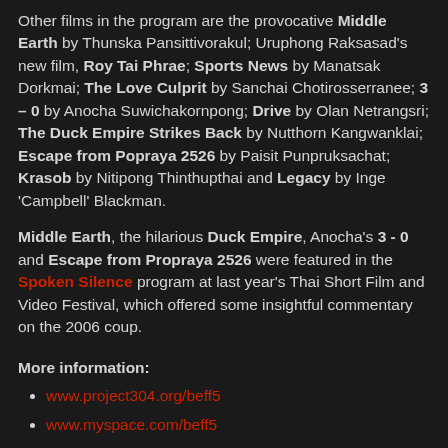Other films in the program are the provocative Middle Earth by Thunska Pansittivorakul; Uruphong Raksasad's new film, Roy Tai Phrae; Sports News by Manatsak Dorkmai; The Love Culprit by Sanchai Chotirosserranee; 3 – 0 by Anocha Suwichakornpong; Drive by Olan Netrangsri; The Duck Empire Strikes Back by Nutthorn Kangwanklai; Escape from Popraya 2526 by Paisit Punpruksachat; Krasob by Nitipong Thinthupthai and Legacy by Inge 'Campbell' Blackman.
Middle Earth, the hilarious Duck Empire, Anocha's 3 - 0 and Escape from Propraya 2526 were featured in the Spoken Silence program at last year's Thai Short Film and Video Festival, which offered some insightful commentary on the 2006 coup.
More information:
www.project304.org/beff5
www.myspace.com/beff5